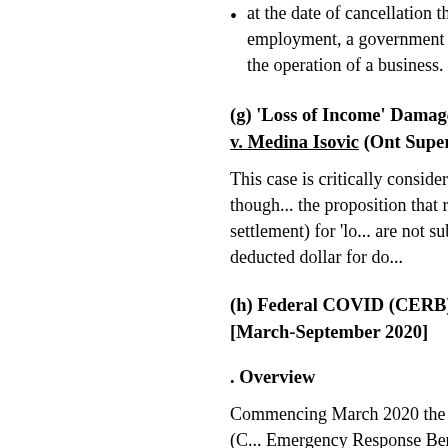at the date of cancellation the insured had no income from employment, a government program or income from an activity or the operation of a business.
(g) 'Loss of Income' Damages: L... v. Medina Isovic (Ont Superior C...
This case is critically considered i... s.5(c). For present purposes though... the proposition that retroactive liti... (by judgment or settlement) for 'lo... are not subject to the STEP deduct... they will be deducted dollar for do...
(h) Federal COVID (CERB) Pay... [March-September 2020]
. Overview
Commencing March 2020 the fede... government created the 'CERB' (C... Emergency Response Benefit) pro... allowed people earning more than...